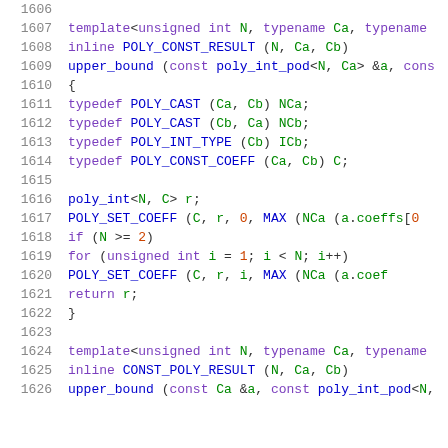Code listing lines 1606-1626, C++ template code for upper_bound poly_int functions